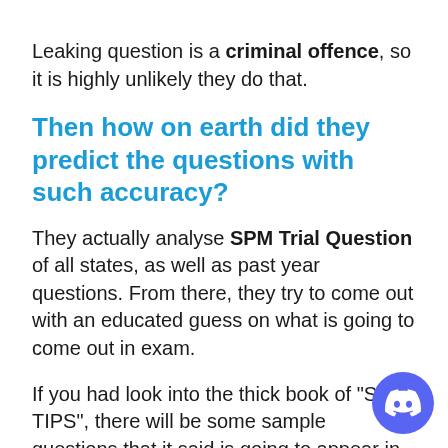Leaking question is a criminal offence, so it is highly unlikely they do that.
Then how on earth did they predict the questions with such accuracy?
They actually analyse SPM Trial Question of all states, as well as past year questions. From there, they try to come out with an educated guess on what is going to come out in exam.
If you had look into the thick book of "SPM TIPS", there will be some sample questions that it said is going to appear in the real exam.
But don't be surprise, those questions are nothing but some SPM Trial Question. They